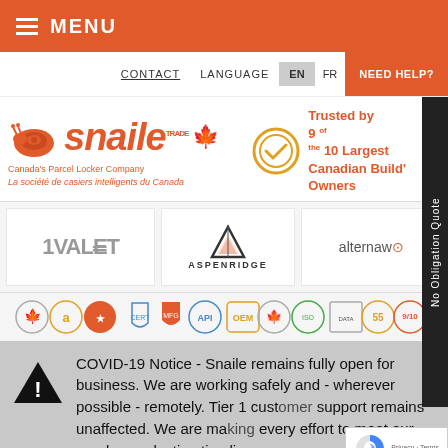MENU
CONTACT   LANGUAGE   EN   FR   NEED HELP?
[Figure (logo): Snaile logo — Canada's Parcel Locker Company / La société de casiers intelligents du Canada — with snail icon and maple leaf]
Trusted by 9 of the 10 Largest Canadian Building Owners
[Figure (logo): 1VALET partner logo]
[Figure (logo): ASPENRIDGE partner logo with mountain triangle icon]
[Figure (logo): alternaw partner logo]
[Figure (infographic): Row of certification and partnership badges including Canadian Made, Amazon, API, OEM, ISO, 55+, 9/10 match badges]
COVID-19 Notice - Snaile remains fully open for business. We are working safely and - wherever possible - remotely. Tier 1 customer support remains unaffected. We are making every effort to meet our regular production timelines,